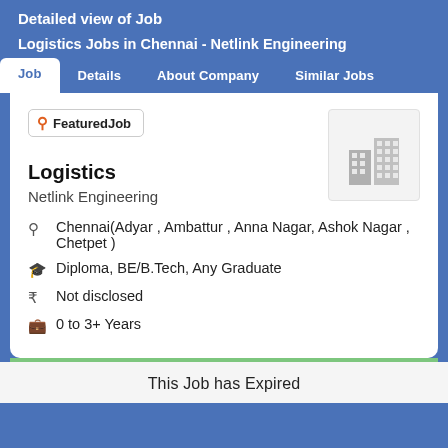Detailed view of Job
Logistics Jobs in Chennai - Netlink Engineering
Job | Details | About Company | Similar Jobs
FeaturedJob
Logistics
Netlink Engineering
Chennai(Adyar , Ambattur , Anna Nagar, Ashok Nagar , Chetpet )
Diploma, BE/B.Tech, Any Graduate
Not disclosed
0 to 3+ Years
This Job has Expired